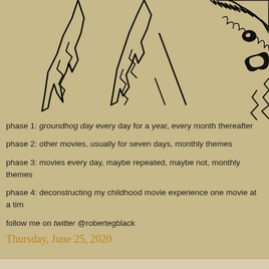[Figure (illustration): Black ink line drawing of trees and an animal (possibly a groundhog or bear) on a tan/beige background, cropped so only upper portions visible]
phase 1: groundhog day every day for a year, every month thereafter
phase 2: other movies, usually for seven days, monthly themes
phase 3: movies every day, maybe repeated, maybe not, monthly themes
phase 4: deconstructing my childhood movie experience one movie at a time
follow me on twitter @robertegblack
Thursday, June 25, 2020